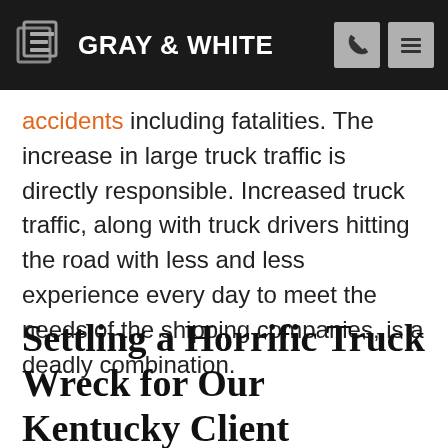GRAY & WHITE
accidents including fatalities. The increase in large truck traffic is directly responsible. Increased truck traffic, along with truck drivers hitting the road with less and less experience every day to meet the needs of the shipping companies, is a deadly combination.
Settling a Horrific Truck Wreck for Our Kentucky Client